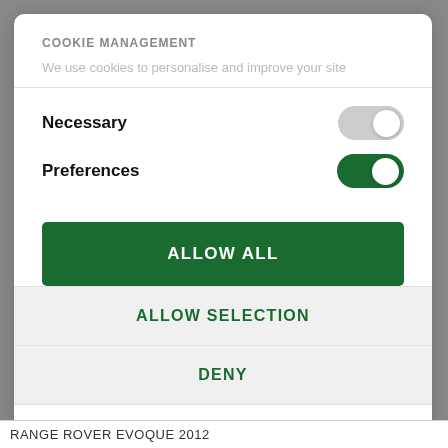COOKIE MANAGEMENT
We use cookies to personalise and improve your site
Necessary
Preferences
ALLOW ALL
ALLOW SELECTION
DENY
Powered by Cookiebot by Usercentrics
RANGE ROVER EVOQUE 2012